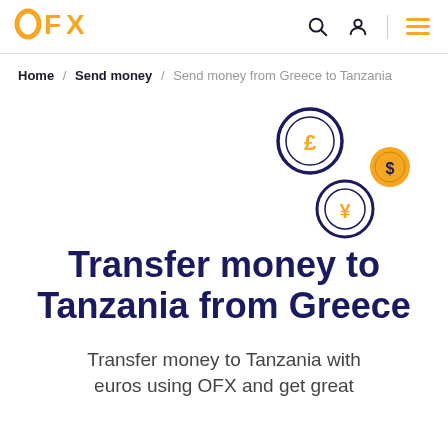OFX [logo] — navigation header with search, account, and menu icons
Home / Send money / Send money from Greece to Tanzania
[Figure (illustration): Three currency coin icons: a large dark-outlined circle with pound sign (£), a small orange circle with dollar sign ($), and a medium dark-outlined circle with yen sign (¥), arranged decoratively on the right side of the page.]
Transfer money to Tanzania from Greece
Transfer money to Tanzania with euros using OFX and get great